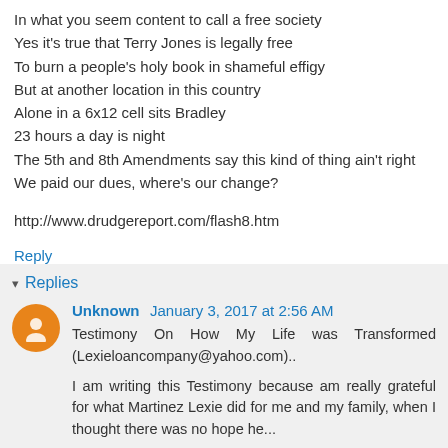In what you seem content to call a free society
Yes it's true that Terry Jones is legally free
To burn a people's holy book in shameful effigy
But at another location in this country
Alone in a 6x12 cell sits Bradley
23 hours a day is night
The 5th and 8th Amendments say this kind of thing ain't right
We paid our dues, where's our change?

http://www.drudgereport.com/flash8.htm
Reply
Replies
Unknown  January 3, 2017 at 2:56 AM
Testimony On How My Life was Transformed (Lexieloancompany@yahoo.com)..

I am writing this Testimony because am really grateful for what Martinez Lexie did for me and my family, when I thought there was no hope he...